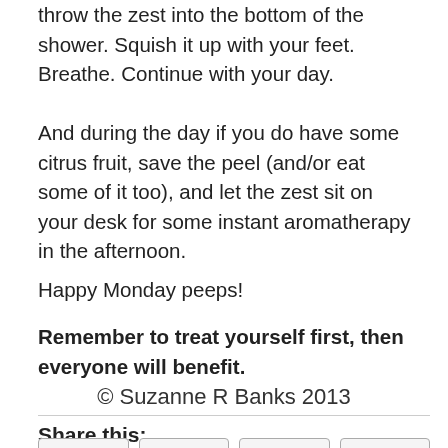throw the zest into the bottom of the shower. Squish it up with your feet. Breathe. Continue with your day.
And during the day if you do have some citrus fruit, save the peel (and/or eat some of it too), and let the zest sit on your desk for some instant aromatherapy in the afternoon.
Happy Monday peeps!
Remember to treat yourself first, then everyone will benefit.
© Suzanne R Banks 2013
Share this: